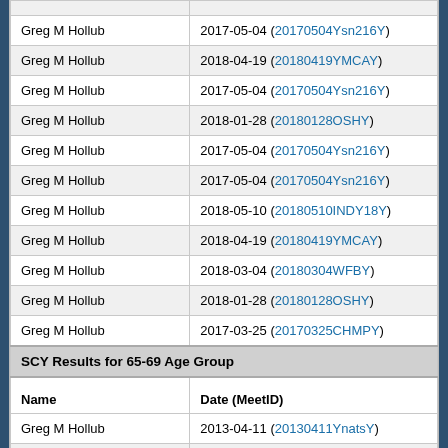| Name | Date (MeetID) |
| --- | --- |
| Greg M Hollub | 2017-05-04 (20170504Ysn216Y) |
| Greg M Hollub | 2018-04-19 (20180419YMCAY) |
| Greg M Hollub | 2017-05-04 (20170504Ysn216Y) |
| Greg M Hollub | 2018-01-28 (20180128OSHY) |
| Greg M Hollub | 2017-05-04 (20170504Ysn216Y) |
| Greg M Hollub | 2017-05-04 (20170504Ysn216Y) |
| Greg M Hollub | 2018-05-10 (20180510INDY18Y) |
| Greg M Hollub | 2018-04-19 (20180419YMCAY) |
| Greg M Hollub | 2018-03-04 (20180304WFBY) |
| Greg M Hollub | 2018-01-28 (20180128OSHY) |
| Greg M Hollub | 2017-03-25 (20170325CHMPY) |
| SCY Results for 65-69  Age Group |  |
| Name | Date (MeetID) |
| Greg M Hollub | 2013-04-11 (20130411YnatsY) |
| Greg M Hollub | 2012-03-31 (20120331WISTCHY) |
| Greg M Hollub | 2016-04-14 (20160414YNATSFY) |
| Greg M Hollub | 2012-04-12 (20120412YNatsY) |